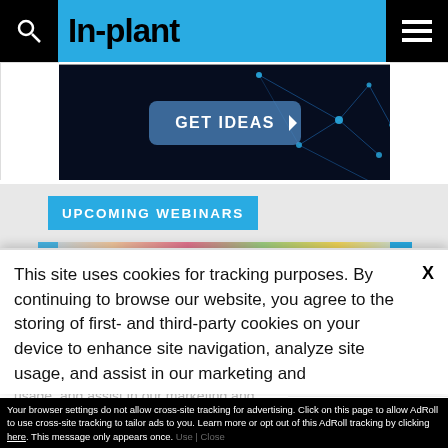In-plant
[Figure (screenshot): Dark advertisement banner with network/neural network background graphic and a blue 'GET IDEAS ▶' button]
UPCOMING WEBINARS
[Figure (photo): Colorful blurred webinar preview image strip]
This site uses cookies for tracking purposes. By continuing to browse our website, you agree to the storing of first- and third-party cookies on your device to enhance site navigation, analyze site usage, and assist in our marketing and
Accept and Close ✕
Your browser settings do not allow cross-site tracking for advertising. Click on this page to allow AdRoll to use cross-site tracking to tailor ads to you. Learn more or opt out of this AdRoll tracking by clicking here. This message only appears once.